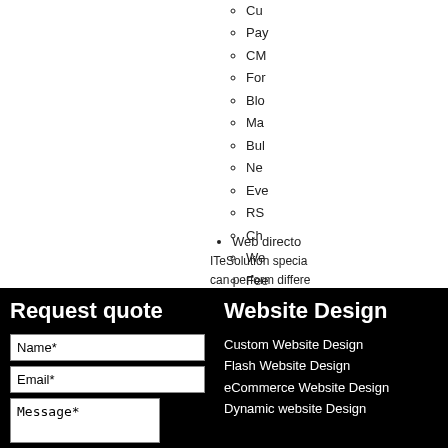Cu...
Pay...
CM...
For...
Blo...
Ma...
Bul...
Ne...
Eve...
RS...
Ch...
We...
Fee...
Web directo...
ITeSolution specia... can perform differe... eager to partner yo...
Contact us or Requ...
Request quote
Name*
Email*
Message*
Website Design
Custom Website Design
Flash Website Design
eCommerce Website Design
Dynamic website Design